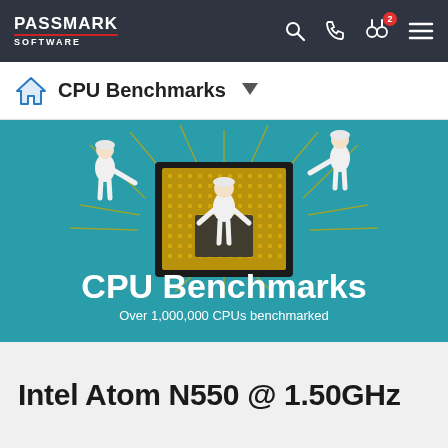PassMark Software — navigation bar with CPU Benchmarks breadcrumb
[Figure (illustration): Hero banner with teal background showing illustrated CPU chip with workers in white lab coats. Text: CPU Benchmarks / Over 1,000,000 CPUs benchmarked]
Intel Atom N550 @ 1.50GHz